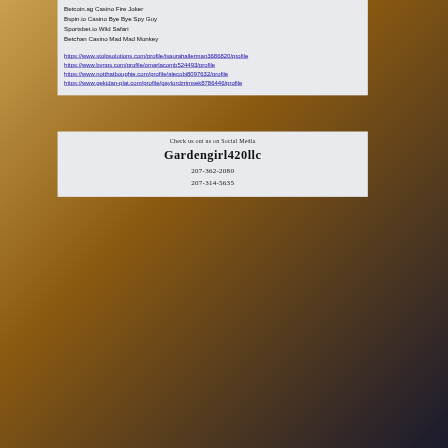Betcoin.ag Casino Fire Joker
Bspin.io Casino Bye Bye Spy Guy
Sportsbet.io Wild Safari
Betchan Casino Mad Mad Monkey
https://www.stolpsolutions.com/profile/isaurahallerman3686820/profile https://www.bvngs.com/profile/omarlacomb524493/profile https://www.notthatboughie.com/profile/alecobi8097632/profile https://www.gekidan-plat.com/profile/gaylordzrimsek8786446/profile
Check us out us on Social Media
Gardengirl420llc
207-362-2080
207-314-5635